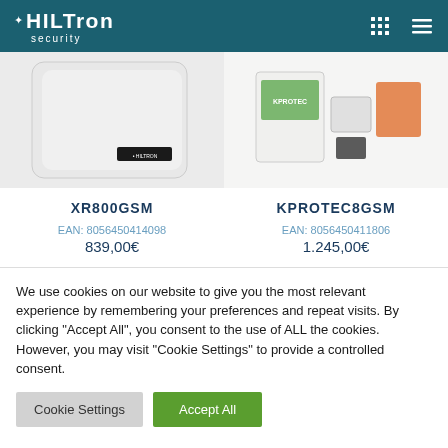Hiltron Security
[Figure (photo): Left: White Hiltron XR800GSM alarm device. Right: KPROTEC8GSM kit with box and accessories.]
XR800GSM
EAN: 8056450414098
839,00€
KPROTEC8GSM
EAN: 8056450411806
1.245,00€
We use cookies on our website to give you the most relevant experience by remembering your preferences and repeat visits. By clicking "Accept All", you consent to the use of ALL the cookies. However, you may visit "Cookie Settings" to provide a controlled consent.
Cookie Settings | Accept All